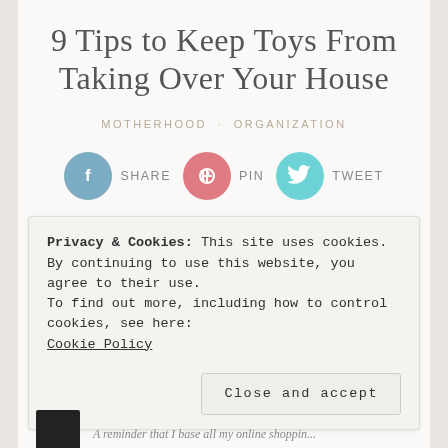9 Tips to Keep Toys From Taking Over Your House
MOTHERHOOD · ORGANIZATION
[Figure (other): Social sharing buttons: Facebook SHARE, Pinterest PIN, Twitter TWEET]
This post may contain affiliate links. See here for full details
Privacy & Cookies: This site uses cookies. By continuing to use this website, you agree to their use.
To find out more, including how to control cookies, see here:
Cookie Policy
Close and accept